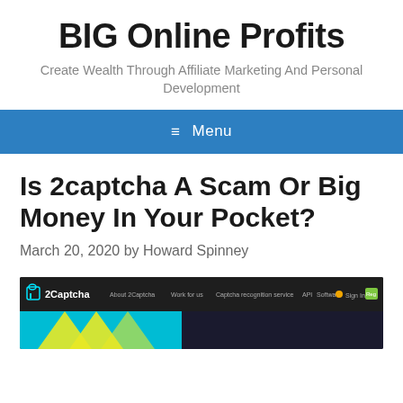BIG Online Profits
Create Wealth Through Affiliate Marketing And Personal Development
≡ Menu
Is 2captcha A Scam Or Big Money In Your Pocket?
March 20, 2020 by Howard Spinney
[Figure (screenshot): Screenshot of the 2Captcha website header showing logo, navigation links (About 2Captcha, Work for us, Captcha recognition service, API, Software), Sign In link, and Register button in green.]